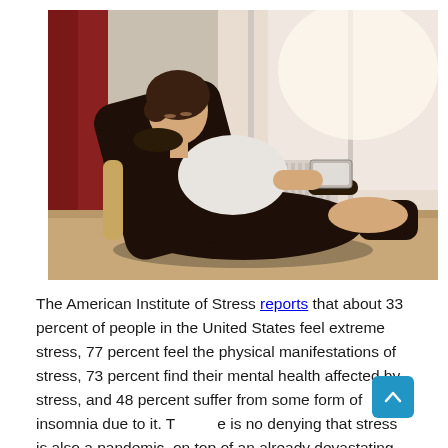[Figure (photo): A young woman with eyes closed reclining in a large black leather massage chair near a bright window, holding a tablet or remote, relaxed pose.]
The American Institute of Stress reports that about 33 percent of people in the United States feel extreme stress, 77 percent feel the physical manifestations of stress, 73 percent find their mental health affected by stress, and 48 percent suffer from some form of insomnia due to it. There is no denying that stress is also a pandemic, on top of an already devastating public health crisis.